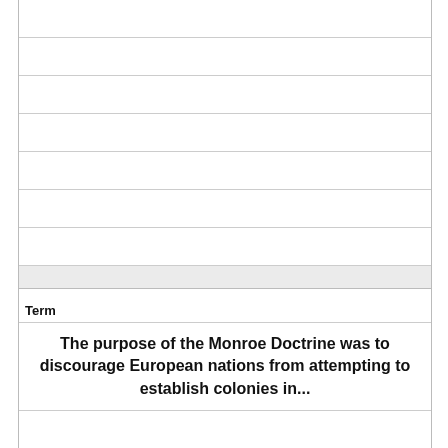| Term | Definition |
| --- | --- |
| The purpose of the Monroe Doctrine was to discourage European nations from attempting to establish colonies in... | the American continents |